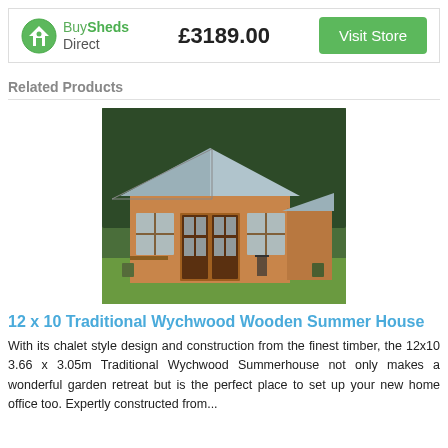[Figure (logo): BuySheds Direct logo with green house icon, price £3189.00, and green Visit Store button]
Related Products
[Figure (photo): Photo of a 12x10 Traditional Wychwood Wooden Summer House, a chalet-style timber building with large windows and a pitched roof, on a grass lawn with garden chairs]
12 x 10 Traditional Wychwood Wooden Summer House
With its chalet style design and construction from the finest timber, the 12x10 3.66 x 3.05m Traditional Wychwood Summerhouse not only makes a wonderful garden retreat but is the perfect place to set up your new home office too. Expertly constructed from...